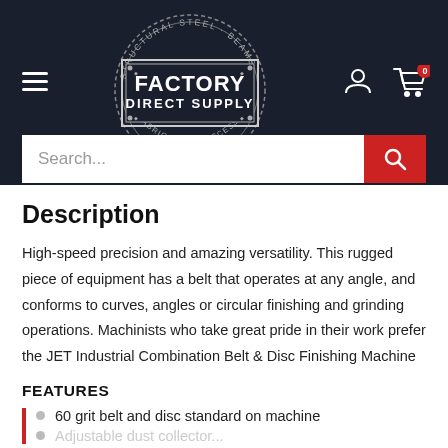[Figure (logo): Factory Direct Supply logo — circular badge with text STRUCTURAL STEEL · BEAMS and FABRICATION · ACCESSORIES around a rectangular label reading FACTORY DIRECT SUPPLY]
Description
High-speed precision and amazing versatility. This rugged piece of equipment has a belt that operates at any angle, and conforms to curves, angles or circular finishing and grinding operations. Machinists who take great pride in their work prefer the JET Industrial Combination Belt & Disc Finishing Machine
FEATURES
60 grit belt and disc standard on machine
Adjustable dust collector...